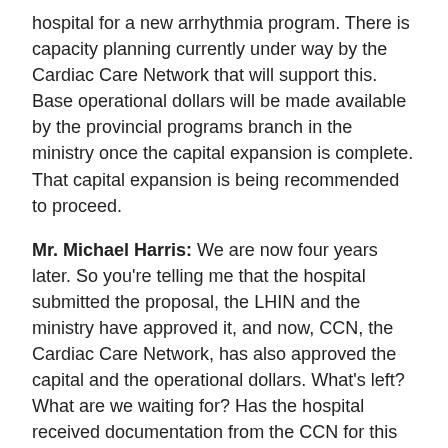hospital for a new arrhythmia program. There is capacity planning currently under way by the Cardiac Care Network that will support this. Base operational dollars will be made available by the provincial programs branch in the ministry once the capital expansion is complete. That capital expansion is being recommended to proceed.
Mr. Michael Harris: We are now four years later. So you're telling me that the hospital submitted the proposal, the LHIN and the ministry have approved it, and now, CCN, the Cardiac Care Network, has also approved the capital and the operational dollars. What's left? What are we waiting for? Has the hospital received documentation from the CCN for this project to at least be tendered? We're at least 18 months away from seeing the facility open, so after its original promise, we're looking at five and a half, almost six, years before we get something done. Can you validate what you just said there, I suppose?
Hon. Eric Hoskins: This is, to some extent, a step-wise